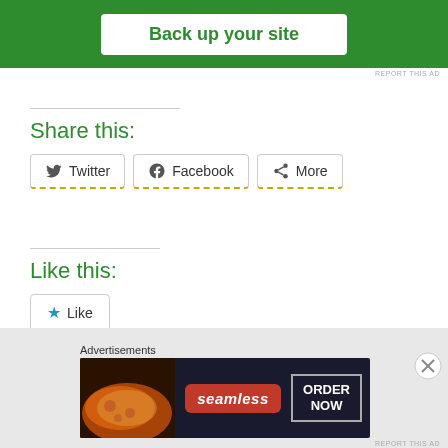[Figure (other): Green advertisement banner with white button labeled 'Back up your site']
REPORT THIS AD
Share this:
[Figure (other): Share buttons: Twitter, Facebook, More]
Like this:
[Figure (other): Like button with blue star icon]
Be the first to like this.
Read Full Post »
Advertisements
[Figure (other): Seamless food delivery advertisement showing pizza and 'ORDER NOW' call to action]